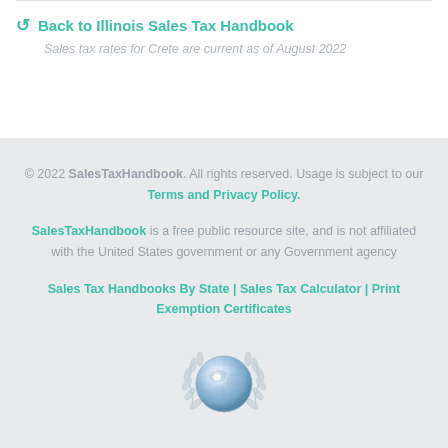Back to Illinois Sales Tax Handbook
Sales tax rates for Crete are current as of August 2022
© 2022 SalesTaxHandbook. All rights reserved. Usage is subject to our Terms and Privacy Policy.
SalesTaxHandbook is a free public resource site, and is not affiliated with the United States government or any Government agency
Sales Tax Handbooks By State | Sales Tax Calculator | Print Exemption Certificates
[Figure (illustration): Globe with laurel wreath award seal illustration in silver/blue tones]